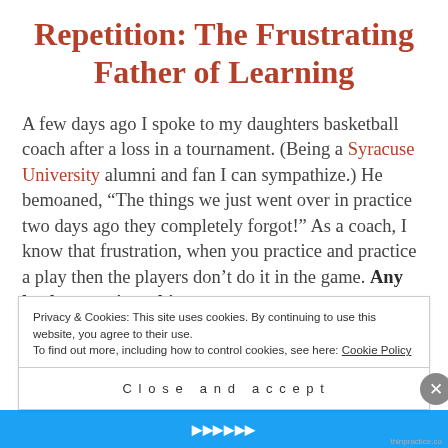Repetition: The Frustrating Father of Learning
A few days ago I spoke to my daughters basketball coach after a loss in a tournament.  (Being a Syracuse University alumni and fan I can sympathize.)  He bemoaned, “The things we just went over in practice two days ago they completely forgot!”  As a coach, I know that frustration, when you practice and practice a play then the players don’t do it in the game.  Any leader runs into this
Privacy & Cookies: This site uses cookies. By continuing to use this website, you agree to their use.
To find out more, including how to control cookies, see here: Cookie Policy
Close and accept